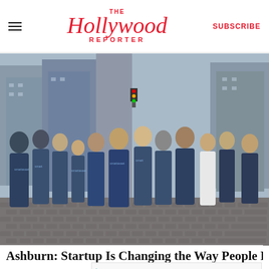The Hollywood Reporter — SUBSCRIBE
[Figure (photo): Group of people wearing SmartAsset branded t-shirts standing on a cobblestone street in New York City]
Ashburn: Startup Is Changing the Way People Retire
View store hours, get directions, or call your salon!